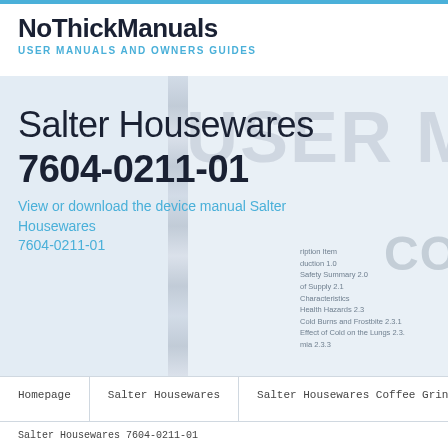NoThickManuals — USER MANUALS AND OWNERS GUIDES
[Figure (photo): Background image of a spiral-bound user manual open to a table of contents page, with 'USER MANUAL' watermark text and table of contents entries visible including Safety Summary 2.0, Health Hazards 2.3, Cold Burns and Frostbite 2.3.1, Effect of Cold on the Lungs 2.3]
Salter Housewares
7604-0211-01
View or download the device manual Salter Housewares 7604-0211-01
Homepage | Salter Housewares | Salter Housewares Coffee Grinder | Salter Housewares 7604-0211-01